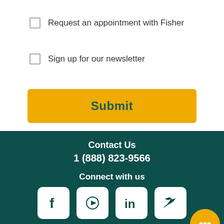Request an appointment with Fisher
Sign up for our newsletter
Submit
Contact Us
1 (888) 823-9566
Connect with us
[Figure (logo): Social media icons: Facebook, YouTube, LinkedIn, Twitter]
Please see our privacy policy on how we use cookies. C... residents here.